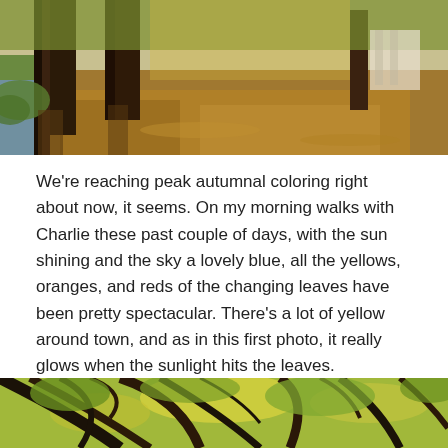[Figure (photo): Autumn scene with large tree trunks along a leaf-covered path, green grass and water visible on the left, sunlight filtering through the trees with a building visible in the background on the right.]
We're reaching peak autumnal coloring right about now, it seems. On my morning walks with Charlie these past couple of days, with the sun shining and the sky a lovely blue, all the yellows, oranges, and reds of the changing leaves have been pretty spectacular. There's a lot of yellow around town, and as in this first photo, it really glows when the sunlight hits the leaves.
That sunlight also creates some beautiful spotlights as the rays burst through the trees, as it did this morning in a little spot by the Sonnenborgh.
[Figure (photo): Looking up through the canopy of large trees with green and yellow autumn leaves, dark branches silhouetted against the bright sky.]